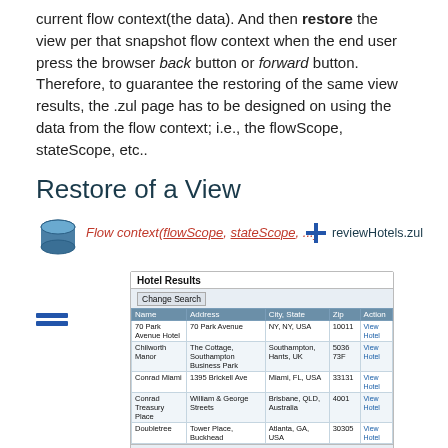current flow context(the data). And then restore the view per that snapshot flow context when the end user press the browser back button or forward button. Therefore, to guarantee the restoring of the same view results, the .zul page has to be designed on using the data from the flow context; i.e., the flowScope, stateScope, etc..
Restore of a View
[Figure (infographic): Diagram showing flow context (flowScope, stateScope, ...) database icon plus sign and reviewHotels.zul label, with a screenshot of Hotel Results table below, and stacked lines icon on the left of the screenshot.]
Summary